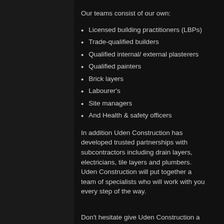Our teams consist of our own:
Licensed building practitioners (LBPs)
Trade-qualified builders
Qualified internal/ external plasterers
Qualified painters
Brick layers
Labourer's
Site managers
And Health & safety officers
In addition Uden Construction has developed trusted partnerships with subcontractors including drain layers, electricians, tile layers and plumbers. Uden Construction will put together a team of specialists who will work with you every step of the way.
Don't hesitate give Uden Construction a call today to discuss this exciting new Chapter in your life.